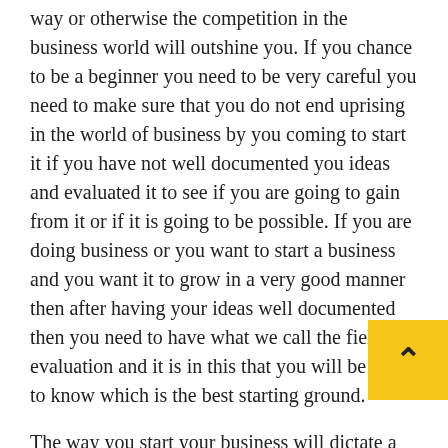way or otherwise the competition in the business world will outshine you. If you chance to be a beginner you need to be very careful you need to make sure that you do not end uprising in the world of business by you coming to start it if you have not well documented you ideas and evaluated it to see if you are going to gain from it or if it is going to be possible. If you are doing business or you want to start a business and you want it to grow in a very good manner then after having your ideas well documented then you need to have what we call the field evaluation and it is in this that you will be able to know which is the best starting ground.
The way you start your business will dictate a lot on how you will be able to advance in it how you will be able to make more and more steps upwards because you need to have your resources brought together and you are ready to sell our ideas to make a living out of it. You need sure of who you are going to work with all how you are going to work for your business you need to be aware that the way you do your business is not the same way you...